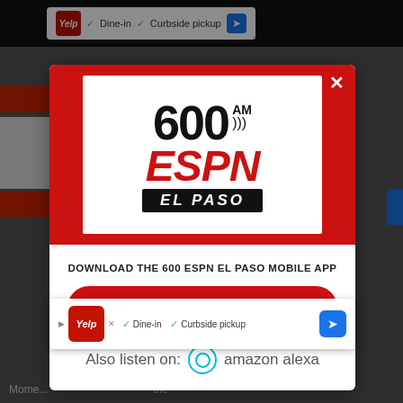[Figure (screenshot): Screenshot of a mobile app download modal for 600 AM ESPN El Paso radio station. The modal shows the station logo on a red background at top, a 'Download the 600 ESPN El Paso Mobile App' message, a red 'GET OUR FREE MOBILE APP' button, and an 'Also listen on: amazon alexa' section. Background shows a blurred webpage with Yelp ads.]
DOWNLOAD THE 600 ESPN EL PASO MOBILE APP
GET OUR FREE MOBILE APP
Also listen on: amazon alexa